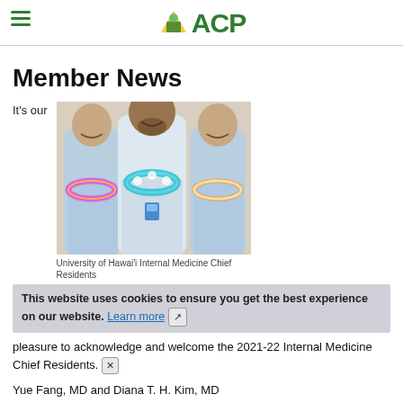ACP
Member News
It's our
[Figure (photo): Three men wearing white lab coats and flower leis (Hawaiian leis), smiling together. They are University of Hawai'i Internal Medicine Chief Residents.]
University of Hawai'i Internal Medicine Chief Residents
This website uses cookies to ensure you get the best experience on our website. Learn more
pleasure to acknowledge and welcome the 2021-22 Internal Medicine Chief Residents.
Yue Fang, MD and Diana T. H. Kim, MD